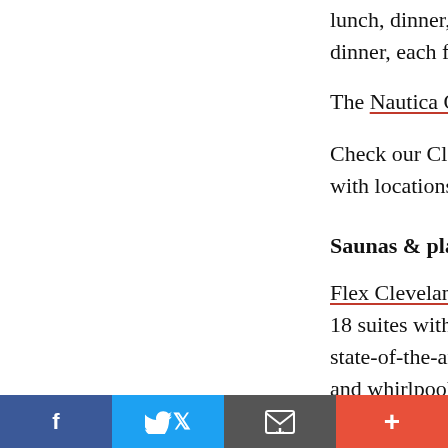lunch, dinner, coffee bar, beer and wine, dinner, each first Thursday of the month
The Nautica Queen offers dinner cruises o
Check our Cleveland map & listings/restaurants with locations and web links.
Saunas & playgrounds
Flex Cleveland (2600 Hamilton), world's largest 18 suites with private baths. Also all-weather state-of-the-art gym, indoor swimming pool and whirlpool. Open 24/7 for men 18 and